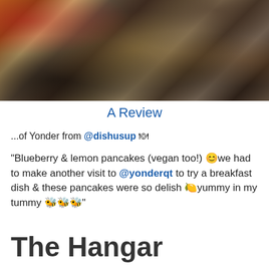[Figure (photo): Overhead photo of blueberry and lemon pancakes with berries, seeds, and edible flowers on a plate, with a red drink visible in the top left corner]
A Review
...of Yonder from @dishusup 🍽
"Blueberry & lemon pancakes (vegan too!) 😊we had to make another visit to @yonderqt to try a breakfast dish & these pancakes were so delish 🍋yummy in my tummy 🐝🐝🐝"
The Hangar